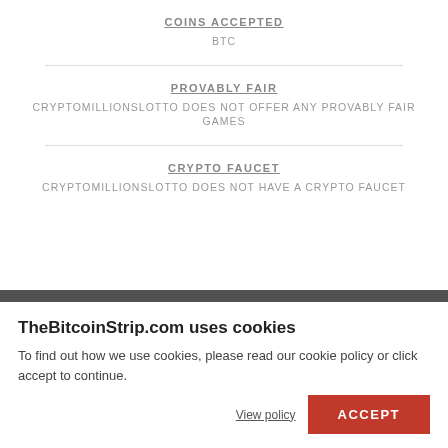COINS ACCEPTED
BTC
PROVABLY FAIR
CRYPTOMILLIONSLOTTO DOES NOT OFFER ANY PROVABLY FAIR GAMES
CRYPTO FAUCET
CRYPTOMILLIONSLOTTO DOES NOT HAVE A CRYPTO FAUCET
CryptoMillionsLotto
Screenshots
[Figure (screenshot): Three thumbnail screenshots of CryptoMillionsLotto website]
Similar Crypto Casinos
TheBitcoinStrip.com uses cookies
To find out how we use cookies, please read our cookie policy or click accept to continue.
View policy
ACCEPT